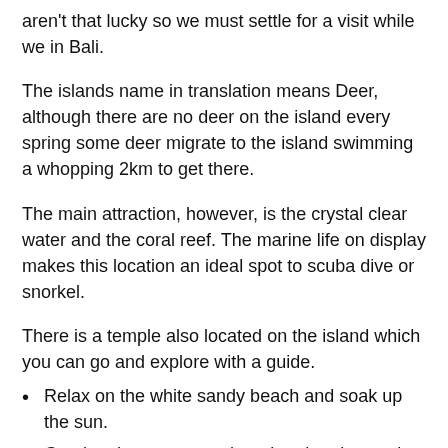aren't that lucky so we must settle for a visit while we in Bali.
The islands name in translation means Deer, although there are no deer on the island every spring some deer migrate to the island swimming a whopping 2km to get there.
The main attraction, however, is the crystal clear water and the coral reef. The marine life on display makes this location an ideal spot to scuba dive or snorkel.
There is a temple also located on the island which you can go and explore with a guide.
Relax on the white sandy beach and soak up the sun.
Get the chance to see the migrating deer swim to the island.
Go scuba diving and snorkeling and see the